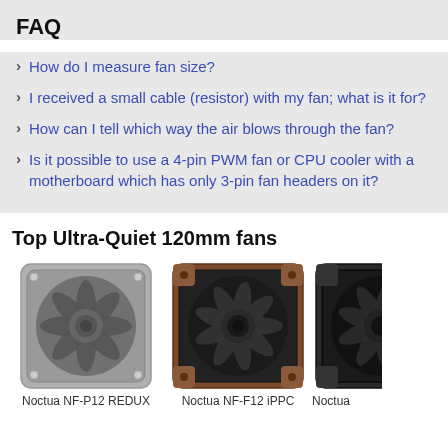FAQ
How do I measure fan size?
I received a small cable (resistor) with my fan; what is it for?
How can I tell which way the air blows through the fan?
Is it possible to use a 4-pin PWM fan or CPU cooler with a motherboard which has only 3-pin fan headers on it?
Top Ultra-Quiet 120mm fans
[Figure (photo): Noctua NF-P12 REDUX 120mm PC fan, gray/dark gray color]
Noctua NF-P12 REDUX
[Figure (photo): Noctua NF-F12 iPPC 120mm PC fan, brown/black color]
Noctua NF-F12 iPPC
[Figure (photo): Noctua 120mm PC fan, black color, partially visible]